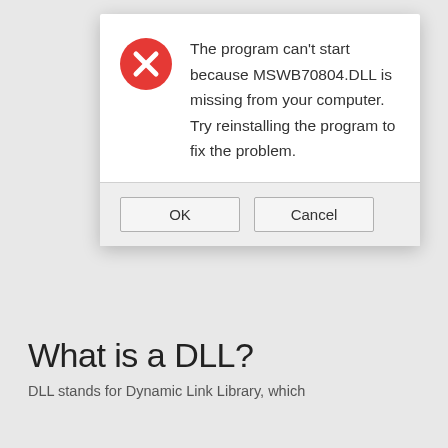[Figure (screenshot): Windows error dialog box showing a red circle with white X icon and message: 'The program can't start because MSWB70804.DLL is missing from your computer. Try reinstalling the program to fix the problem.' with OK and Cancel buttons.]
What is a DLL?
DLL stands for Dynamic Link Library, which